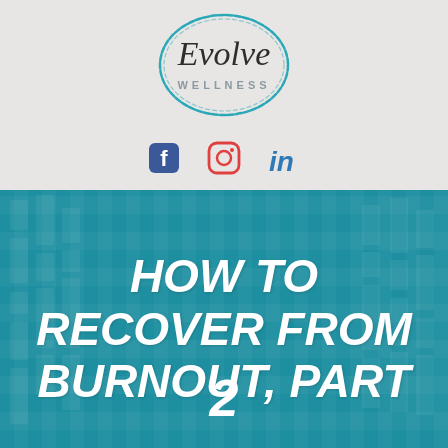[Figure (logo): Evolve Wellness logo: cursive 'Evolve' text above 'WELLNESS' in spaced caps, surrounded by a hand-drawn teal circle]
[Figure (infographic): Three social media icons: Facebook (blue f), Instagram (gradient camera), LinkedIn (blue 'in')]
HOW TO RECOVER FROM BURNOUT, PART 2